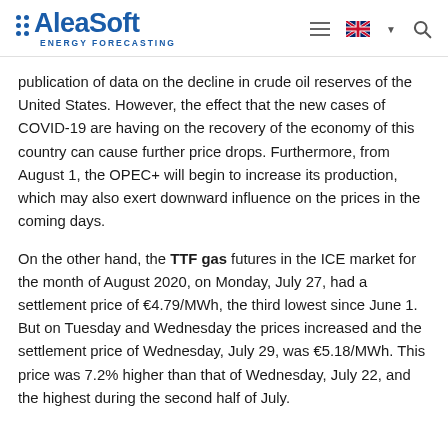AleaSoft ENERGY FORECASTING
publication of data on the decline in crude oil reserves of the United States. However, the effect that the new cases of COVID-19 are having on the recovery of the economy of this country can cause further price drops. Furthermore, from August 1, the OPEC+ will begin to increase its production, which may also exert downward influence on the prices in the coming days.
On the other hand, the TTF gas futures in the ICE market for the month of August 2020, on Monday, July 27, had a settlement price of €4.79/MWh, the third lowest since June 1. But on Tuesday and Wednesday the prices increased and the settlement price of Wednesday, July 29, was €5.18/MWh. This price was 7.2% higher than that of Wednesday, July 22, and the highest during the second half of July.